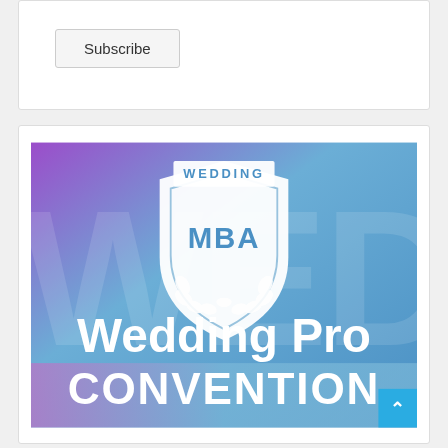Subscribe
[Figure (logo): Wedding MBA - Wedding Pro Convention logo on a gradient purple-to-blue background with laurel wreath emblem and white text reading 'Wedding Pro CONVENTION']